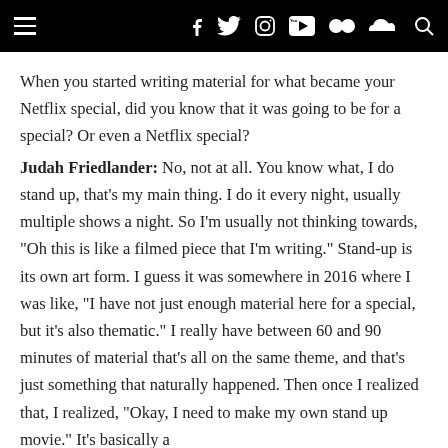Navigation and social media icons bar
When you started writing material for what became your Netflix special, did you know that it was going to be for a special? Or even a Netflix special?
Judah Friedlander: No, not at all. You know what, I do stand up, that's my main thing. I do it every night, usually multiple shows a night. So I'm usually not thinking towards, "Oh this is like a filmed piece that I'm writing." Stand-up is its own art form. I guess it was somewhere in 2016 where I was like, "I have not just enough material here for a special, but it's also thematic." I really have between 60 and 90 minutes of material that's all on the same theme, and that's just something that naturally happened. Then once I realized that, I realized, "Okay, I need to make my own stand up movie." It's basically a